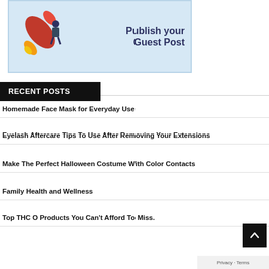[Figure (illustration): Banner image with illustration of a rocket and person writing, with text 'Publish your Guest Post' on a light blue background]
RECENT POSTS
Homemade Face Mask for Everyday Use
Eyelash Aftercare Tips To Use After Removing Your Extensions
Make The Perfect Halloween Costume With Color Contacts
Family Health and Wellness
Top THC O Products You Can't Afford To Miss.